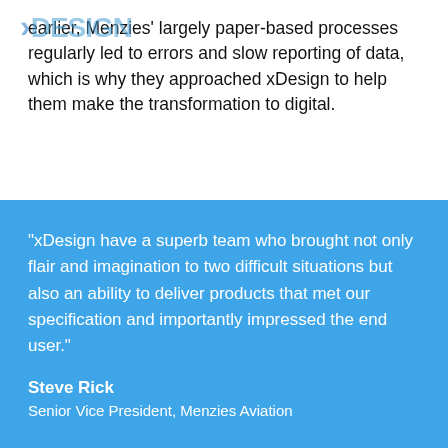earlier, Menzies' largely paper-based processes regularly led to errors and slow reporting of data, which is why they approached xDesign to help them make the transformation to digital.
“xDesign have a superb team who brought not only flair and imagination to two difficult situations but also an ability to deliver products that met our specification and importantly impressed the end user.”
Steve Rick
Senior Vice President, Menzies Aviation